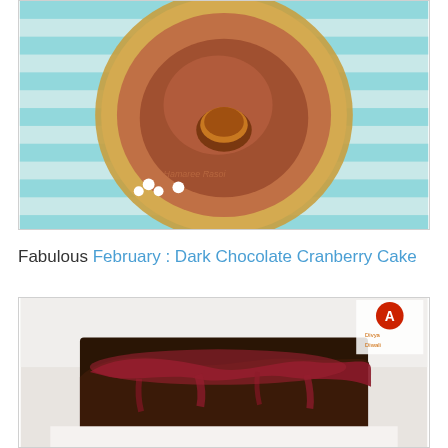[Figure (photo): Overhead view of a terracotta pot on a decorative gold plate with a blue striped tablecloth, topped with a caramelized dessert, surrounded by small white flowers. Watermark reads 'Hamaree Rasoi'.]
Fabulous February : Dark Chocolate Cranberry Cake
[Figure (photo): Close-up photo of a dark chocolate cake slice covered with glossy cranberry glaze/sauce, with a small logo/watermark in the top right corner.]